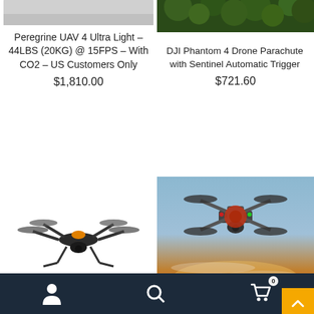[Figure (photo): Partial photo of Peregrine UAV product (grey/light gradient, top portion cut off)]
Peregrine UAV 4 Ultra Light – 44LBS (20KG) @ 15FPS – With CO2 – US Customers Only
$1,810.00
[Figure (photo): Photo of green foliage/trees from above]
DJI Phantom 4 Drone Parachute with Sentinel Automatic Trigger
$721.60
[Figure (photo): Photo of DJI Mavic Pro drone on white background, seen from front-left angle]
DJI Mavic Pro Drone
[Figure (photo): Photo of DJI Phantom drone flying against sunset sky with orange and blue tones]
Navigation bar with user icon, search icon, and cart icon (badge: 0)